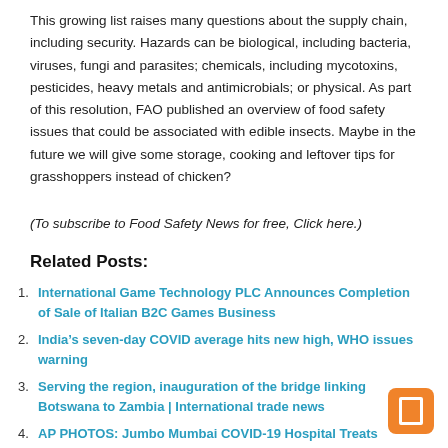This growing list raises many questions about the supply chain, including security. Hazards can be biological, including bacteria, viruses, fungi and parasites; chemicals, including mycotoxins, pesticides, heavy metals and antimicrobials; or physical. As part of this resolution, FAO published an overview of food safety issues that could be associated with edible insects. Maybe in the future we will give some storage, cooking and leftover tips for grasshoppers instead of chicken?
(To subscribe to Food Safety News for free, Click here.)
Related Posts:
International Game Technology PLC Announces Completion of Sale of Italian B2C Games Business
India’s seven-day COVID average hits new high, WHO issues warning
Serving the region, inauguration of the bridge linking Botswana to Zambia | International trade news
AP PHOTOS: Jumbo Mumbai COVID-19 Hospital Treats Thousands | World news